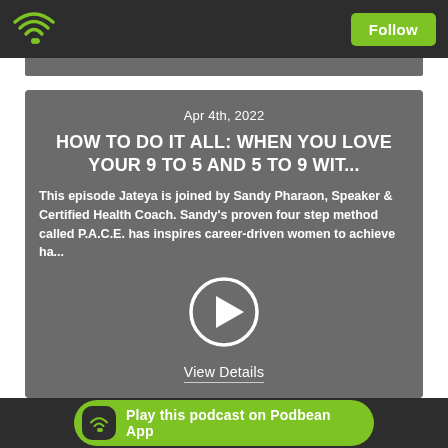Follow
[Figure (screenshot): Podbean podcast app screenshot showing episode card with date Apr 4th, 2022, title HOW TO DO IT ALL: WHEN YOU LOVE YOUR 9 TO 5 AND 5 TO 9 WIT..., episode description, play button, and View Details link]
HOW TO DO IT ALL: WHEN YOU LOVE YOUR 9 TO 5 AND 5 TO 9 WIT...
Apr 4th, 2022
This episode Jateya is joined by Sandy Pharaon, Speaker & Certified Health Coach. Sandy's proven four step method called P.A.C.E. has inspires career-driven women to achieve ha...
View Details
Play this podcast on Podbean App